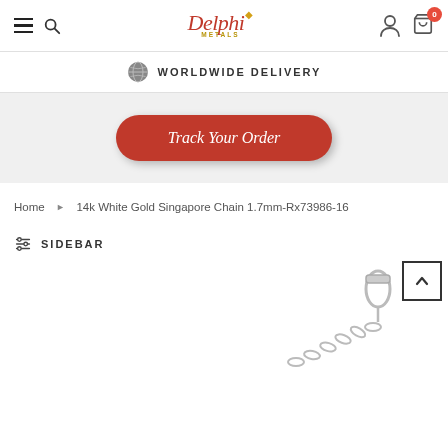Delphi Metals - WORLDWIDE DELIVERY
Track Your Order
Home › 14k White Gold Singapore Chain 1.7mm-Rx73986-16
SIDEBAR
[Figure (photo): Partial view of a white gold chain necklace with a lobster clasp, shown in close-up on white background]